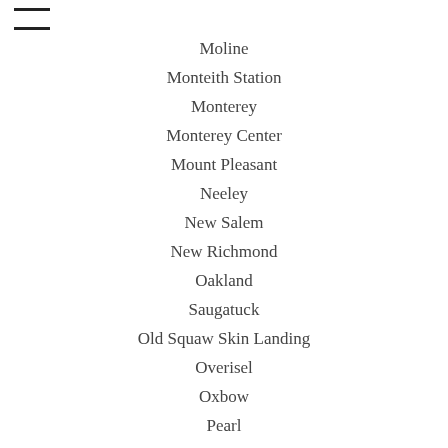≡
Moline
Monteith Station
Monterey
Monterey Center
Mount Pleasant
Neeley
New Salem
New Richmond
Oakland
Saugatuck
Old Squaw Skin Landing
Overisel
Oxbow
Pearl
Pier Cove
Plummerville